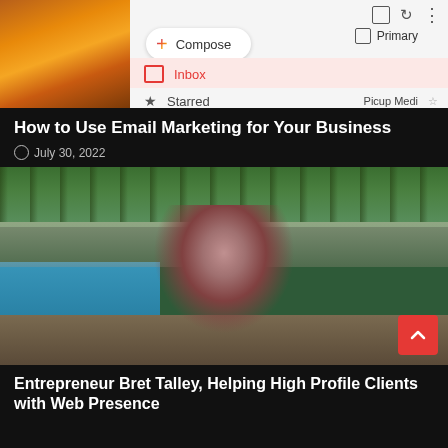[Figure (screenshot): Gmail interface screenshot showing Compose button, Inbox (selected/highlighted in pink), Starred row, Primary tab, and Picup Media label. Adjacent to a fire/bokeh photo on the left.]
How to Use Email Marketing for Your Business
July 30, 2022
[Figure (photo): Man with sunglasses and beard wearing a maroon short-sleeve shirt, smiling at a resort pool area with palm trees, umbrellas, and lounge chairs in the background.]
Entrepreneur Bret Talley, Helping High Profile Clients with Web Presence